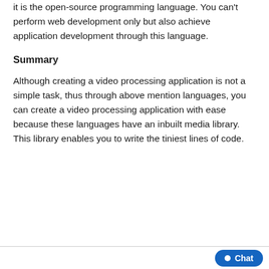it is the open-source programming language. You can't perform web development only but also achieve application development through this language.
Summary
Although creating a video processing application is not a simple task, thus through above mention languages, you can create a video processing application with ease because these languages have an inbuilt media library. This library enables you to write the tiniest lines of code.
Chat